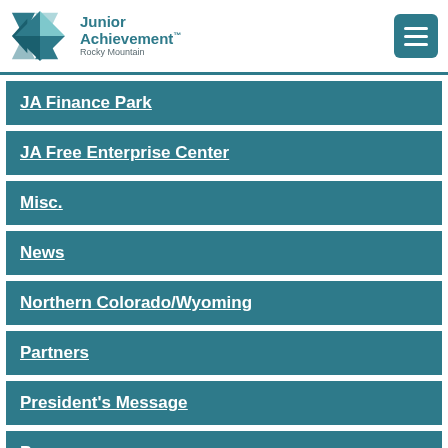Junior Achievement™ Rocky Mountain
JA Finance Park
JA Free Enterprise Center
Misc.
News
Northern Colorado/Wyoming
Partners
President's Message
Programs